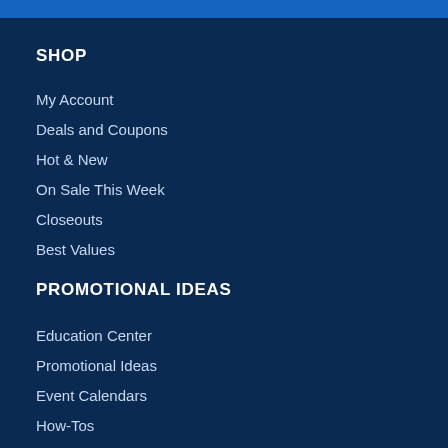SHOP
My Account
Deals and Coupons
Hot & New
On Sale This Week
Closeouts
Best Values
PROMOTIONAL IDEAS
Education Center
Promotional Ideas
Event Calendars
How-Tos
Case Studies